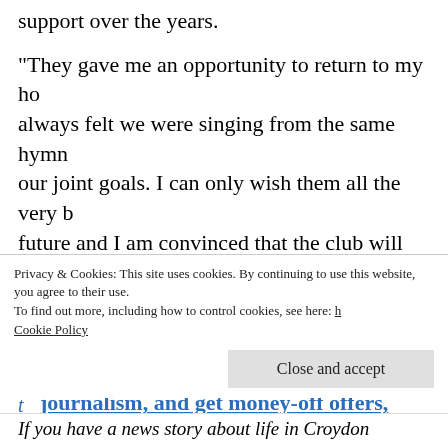support over the years.
“They gave me an opportunity to return to my ho always felt we were singing from the same hymn our joint goals. I can only wish them all the very b future and I am convinced that the club will go fr
Read more: I don’t want to see a headline saying “H
Read more: Veteran Palace boss Hodgson heading t
Help support Inside Croydon’s award-winning journalism, and get money-off offers, exclusiv
Privacy & Cookies: This site uses cookies. By continuing to use this website, you agree to their use.
To find out more, including how to control cookies, see here:
Cookie Policy
Close and accept
If you have a news story about life in Croydon